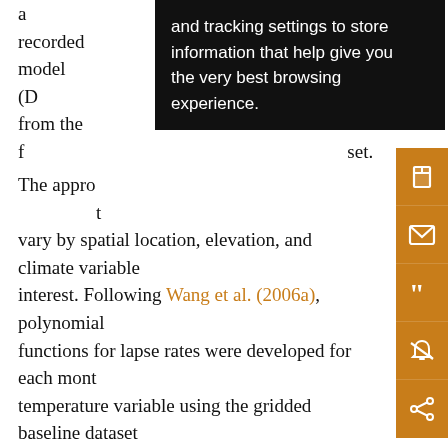a recorded … elevation model (D… interpolated from the f… dataset.
[Figure (screenshot): Tooltip/cookie overlay with black background showing text: 'and tracking settings to store information that help give you the very best browsing experience.']
The appropriate lapse rates for this elevation adjustment vary by spatial location, elevation, and climate variable of interest. Following Wang et al. (2006a), polynomial functions for lapse rates were developed for each monthly temperature variable using the gridded baseline dataset 923 176 points (not weather station data) based on latitude, longitude, and elevation and their combinations and transformations. The polynomial functions were developed separately for three latitudinal bands: north of 60°N, between 47° and 60°N, and south of 47°N. To avoid steps in predicted climate data at these boundaries, data used for developing the elevation adjustment functions …